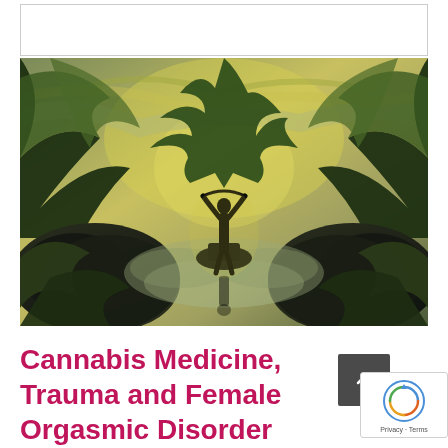[Figure (illustration): A surreal digital artwork depicting a silhouette of a human figure in a yoga/meditation pose with arms raised, standing amid large cannabis leaves, rocks, and a dramatic landscape with yellow-green and dark tones creating a mystical atmosphere.]
Cannabis Medicine, Trauma and Female Orgasmic Disorder